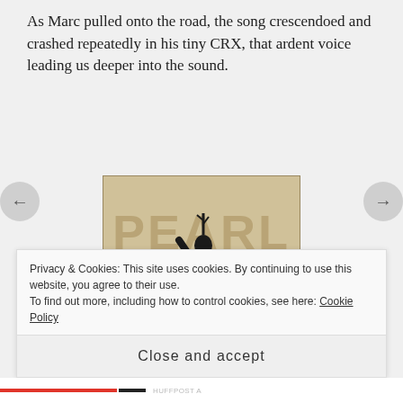As Marc pulled onto the road, the song crescendoed and crashed repeatedly in his tiny CRX, that ardent voice leading us deeper into the sound.
[Figure (illustration): Pearl Jam Ten album cover showing silhouettes of band members against a sepia-toned background with large 'PEARL JAM' text]
This year marks the twentieth anniversary of Pearl Jam's
Privacy & Cookies: This site uses cookies. By continuing to use this website, you agree to their use.
To find out more, including how to control cookies, see here: Cookie Policy
Close and accept